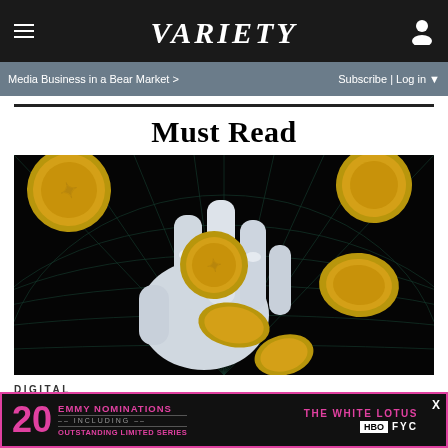VARIETY
Media Business in a Bear Market > Subscribe | Log in
Must Read
[Figure (illustration): Robot hand holding golden coins on dark grid background]
DIGITAL
[Figure (other): Advertisement: 20 EMMY NOMINATIONS INCLUDING OUTSTANDING LIMITED SERIES - THE WHITE LOTUS - HBO FYC]